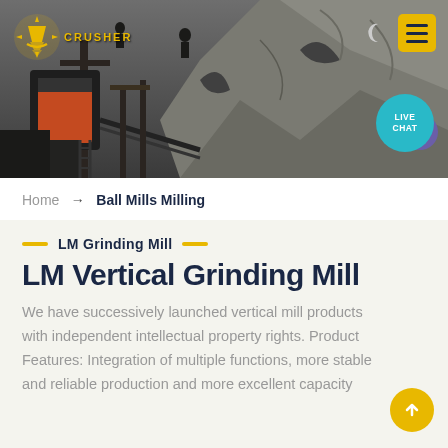[Figure (photo): Industrial mining/crushing site with heavy machinery, conveyor belts and rock walls. Dark atmospheric photo used as website header banner.]
CRUSHER logo and navigation with Live Chat button
Home → Ball Mills Milling
LM Grinding Mill
LM Vertical Grinding Mill
We have successively launched vertical mill products with independent intellectual property rights. Product Features: Integration of multiple functions, more stable and reliable production and more excellent capacity